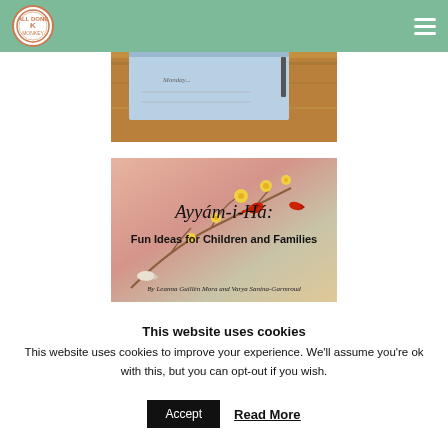[Figure (photo): Partial view of a wooden desk with a blue notepad/paper on it]
[Figure (illustration): Book cover: 'Ayyám-i-Há: Fun Ideas for Children and Families' by Leanna Guillén Mora and Varya Sanina-Garmroud, featuring illustrated birds and floral branches on a pink background]
This website uses cookies
This website uses cookies to improve your experience. We'll assume you're ok with this, but you can opt-out if you wish.
Accept   Read More